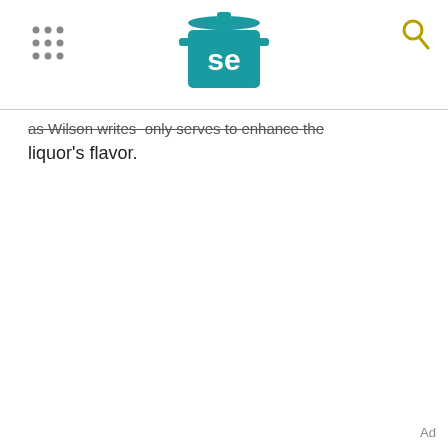[Figure (logo): Serious Eats logo: teal cooking pot with white 'se' lettering]
as Wilson writes only serves to enhance the liquor's flavor.
Ad